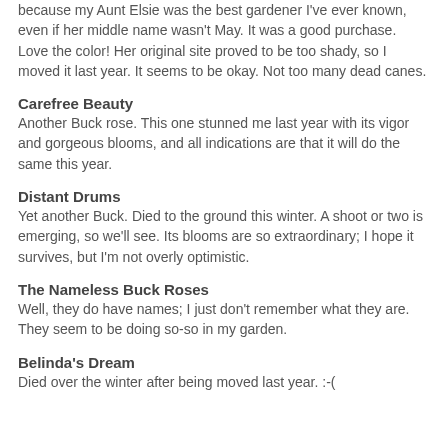because my Aunt Elsie was the best gardener I've ever known, even if her middle name wasn't May. It was a good purchase. Love the color! Her original site proved to be too shady, so I moved it last year. It seems to be okay. Not too many dead canes.
Carefree Beauty
Another Buck rose. This one stunned me last year with its vigor and gorgeous blooms, and all indications are that it will do the same this year.
Distant Drums
Yet another Buck. Died to the ground this winter. A shoot or two is emerging, so we'll see. Its blooms are so extraordinary; I hope it survives, but I'm not overly optimistic.
The Nameless Buck Roses
Well, they do have names; I just don't remember what they are. They seem to be doing so-so in my garden.
Belinda's Dream
Died over the winter after being moved last year. :-(